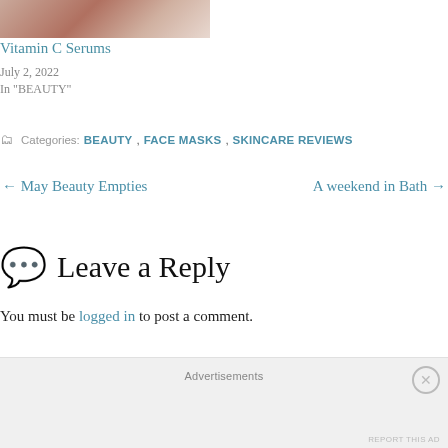[Figure (photo): Partial cropped photo of a beauty/skincare product]
Vitamin C Serums
July 2, 2022
In "BEAUTY"
Categories: BEAUTY, FACE MASKS, SKINCARE REVIEWS
← May Beauty Empties     A weekend in Bath →
Leave a Reply
You must be logged in to post a comment.
Advertisements